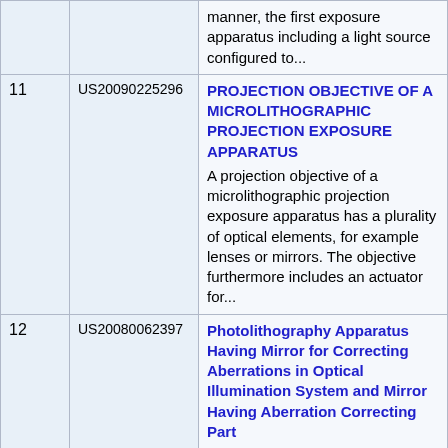| # | Patent ID | Description |
| --- | --- | --- |
|  |  | manner, the first exposure apparatus including a light source configured to... |
| 11 | US20090225296 | PROJECTION OBJECTIVE OF A MICROLITHOGRAPHIC PROJECTION EXPOSURE APPARATUS
A projection objective of a microlithographic projection exposure apparatus has a plurality of optical elements, for example lenses or mirrors. The objective furthermore includes an actuator for... |
| 12 | US20080062397 | Photolithography Apparatus Having Mirror for Correcting Aberrations in Optical Illumination System and Mirror Having Aberration Correcting Part
A photolithography apparatus includes an optical illumination system. The optical illumination system includes a light source, an illumination system, a photomask, and a projection system. The... |
| 13 | US20090033903 | ILLUMINATION SYSTEMS, EXPOSURE APPARATUS, AND MICRODEVICE-MANUFACTURING METHODS USING... |